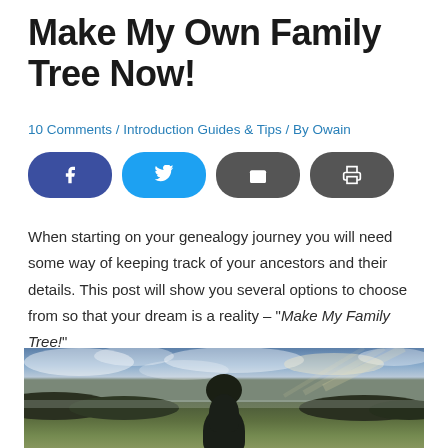Make My Own Family Tree Now!
10 Comments / Introduction Guides & Tips / By Owain
[Figure (other): Four social sharing buttons: Facebook (blue), Twitter (cyan), Email (dark grey), Print (dark grey)]
When starting on your genealogy journey you will need some way of keeping track of your ancestors and their details. This post will show you several options to choose from so that your dream is a reality – "Make My Family Tree!"
[Figure (photo): Landscape photo showing a lone tree silhouetted against a dramatic cloudy sky over a green meadow with a dirt path leading toward the tree.]